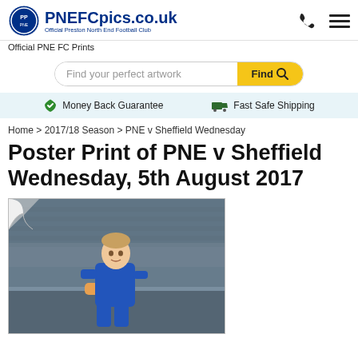PNEFCpics.co.uk - Official Preston North End Football Club
Official PNE FC Prints
Find your perfect artwork
Money Back Guarantee  Fast Safe Shipping
Home > 2017/18 Season > PNE v Sheffield Wednesday
Poster Print of PNE v Sheffield Wednesday, 5th August 2017
[Figure (photo): A football player (goalkeeper) in a blue kit gesturing towards the camera at a stadium, with blurred crowd seating visible in the background. The image is displayed as a poster print with a curled top-left corner effect.]